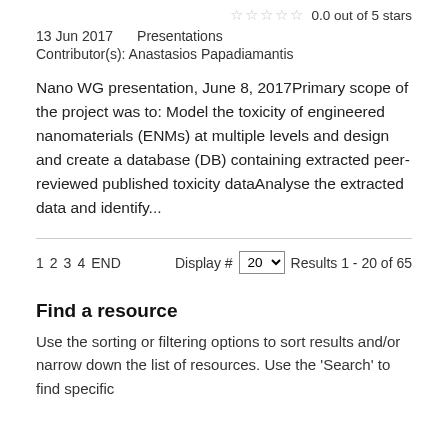0.0 out of 5 stars
13 Jun 2017    Presentations
Contributor(s): Anastasios Papadiamantis
Nano WG presentation, June 8, 2017Primary scope of the project was to: Model the toxicity of engineered nanomaterials (ENMs) at multiple levels and design and create a database (DB) containing extracted peer-reviewed published toxicity dataAnalyse the extracted data and identify...
1 2 3 4 END     Display # 20    Results 1 - 20 of 65
Find a resource
Use the sorting or filtering options to sort results and/or narrow down the list of resources. Use the 'Search' to find specific